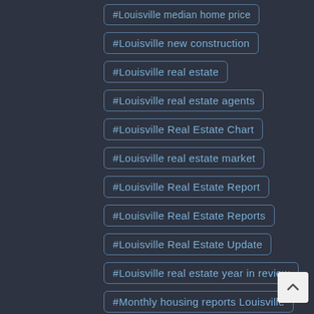#Louisville median home price
#Louisville new construction
#Louisville real estate
#Louisville real estate agents
#Louisville Real Estate Chart
#Louisville real estate market
#Louisville Real Estate Report
#Louisville Real Estate Reports
#Louisville Real Estate Update
#Louisville real estate year in review
#Monthly housing reports Louisville
#Monthly Sales Comparison for Louisville
#Oldham County home sales
#real estate investing
#Rental Property
#Top 3 Real Estate Myths
#Top 10 Wealthiest Areas in Louisville